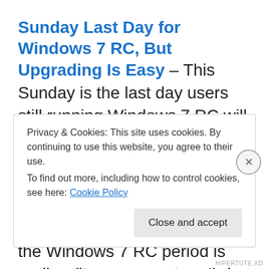Sunday Last Day for Windows 7 RC, But Upgrading Is Easy – This Sunday is the last day users still running Windows 7 RC will be able to go about their everyday computing before Windows starts with the nagging and auto-rebooting. The annoying part is less that the Windows 7 RC period is ending (it was a great run!), but more that there's no upgrade path for going from Windows 7 RC to Windows 7 proper. Luckily we've already highlighted a simple step-by-step method that will allow
Privacy & Cookies: This site uses cookies. By continuing to use this website, you agree to their use. To find out more, including how to control cookies, see here: Cookie Policy
Close and accept
HIPERTUTE.XD